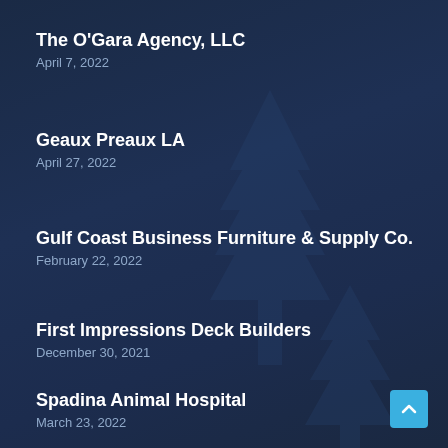The O'Gara Agency, LLC
April 7, 2022
Geaux Preaux LA
April 27, 2022
Gulf Coast Business Furniture & Supply Co.
February 22, 2022
First Impressions Deck Builders
December 30, 2021
Spadina Animal Hospital
March 23, 2022